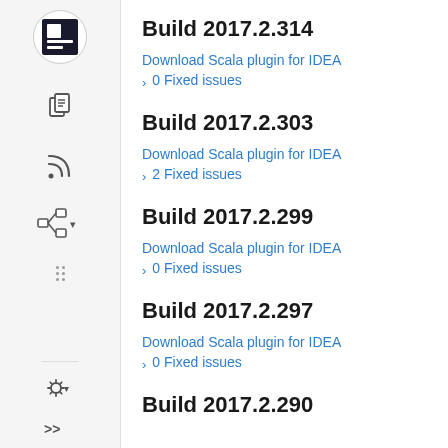[Figure (screenshot): Left sidebar with JetBrains-style navigation icons including logo, documents, RSS feed, tree/hierarchy, drag handle, gear/settings, and expand arrows]
Build 2017.2.314
Download Scala plugin for IDEA
0 Fixed issues
Build 2017.2.303
Download Scala plugin for IDEA
2 Fixed issues
Build 2017.2.299
Download Scala plugin for IDEA
0 Fixed issues
Build 2017.2.297
Download Scala plugin for IDEA
0 Fixed issues
Build 2017.2.290